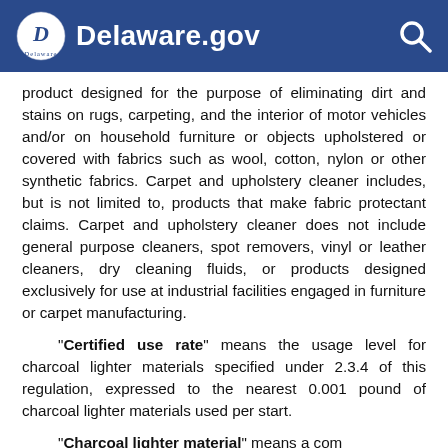Delaware.gov
product designed for the purpose of eliminating dirt and stains on rugs, carpeting, and the interior of motor vehicles and/or on household furniture or objects upholstered or covered with fabrics such as wool, cotton, nylon or other synthetic fabrics. Carpet and upholstery cleaner includes, but is not limited to, products that make fabric protectant claims. Carpet and upholstery cleaner does not include general purpose cleaners, spot removers, vinyl or leather cleaners, dry cleaning fluids, or products designed exclusively for use at industrial facilities engaged in furniture or carpet manufacturing.
"Certified use rate" means the usage level for charcoal lighter materials specified under 2.3.4 of this regulation, expressed to the nearest 0.001 pound of charcoal lighter materials used per start.
"Charcoal lighter material" means a …